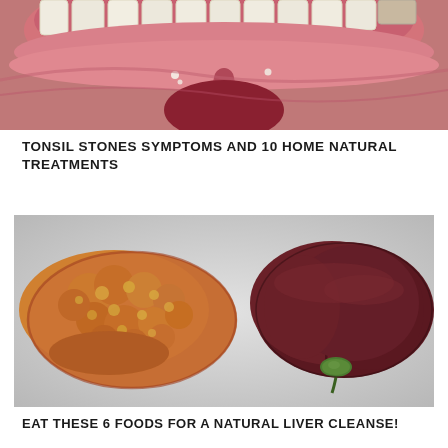[Figure (photo): Close-up macro photo of the inside of an open mouth showing teeth, gums, and throat area with pink soft tissue visible]
TONSIL STONES SYMPTOMS AND 10 HOME NATURAL TREATMENTS
[Figure (photo): Medical illustration showing two livers side by side: on the left a diseased/fatty liver with yellowish-orange lumpy texture, on the right a healthy dark reddish-brown liver with smooth surface and gallbladder visible, on grey background]
EAT THESE 6 FOODS FOR A NATURAL LIVER CLEANSE!